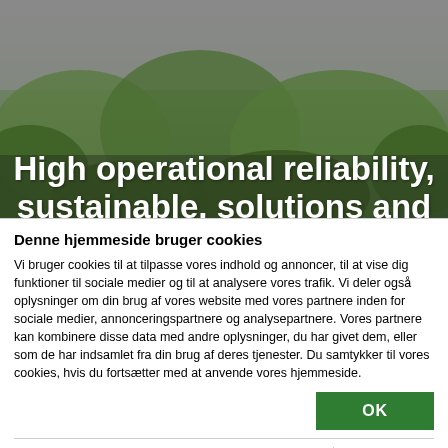[Figure (photo): Background photo of green leaves/foliage with hero text overlay]
High operational reliability, sustainable, solutions and
Denne hjemmeside bruger cookies
Vi bruger cookies til at tilpasse vores indhold og annoncer, til at vise dig funktioner til sociale medier og til at analysere vores trafik. Vi deler også oplysninger om din brug af vores website med vores partnere inden for sociale medier, annonceringspartnere og analysepartnere. Vores partnere kan kombinere disse data med andre oplysninger, du har givet dem, eller som de har indsamlet fra din brug af deres tjenester. Du samtykker til vores cookies, hvis du fortsætter med at anvende vores hjemmeside.
OK
Nødvendig  Præferencer  Statistik  Vis detaljer  Marketing